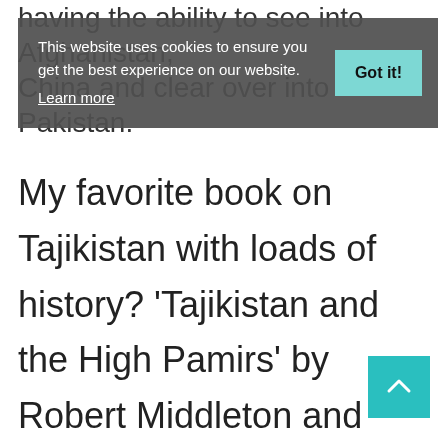having the ability to see into Afghanistan, China and clear over into Pakistan.
This website uses cookies to ensure you get the best experience on our website. Learn more
My favorite book on Tajikistan with loads of history? 'Tajikistan and the High Pamirs' by Robert Middleton and Huw Thomas. Buy it here.